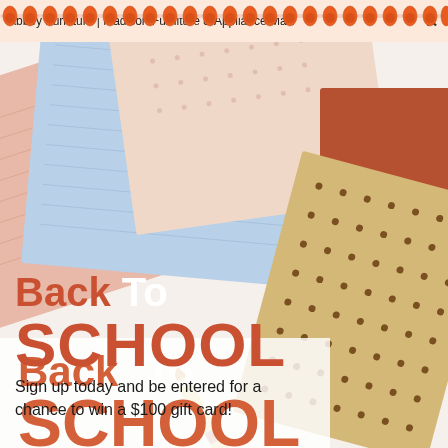Abbey Furniture | Madison Furniture & Appliance Mart ×
[Figure (photo): Close-up overhead photo of overlapping notebooks and notepads in pastel colors (light blue, peach/salmon, tan with brown dots, and terracotta/rust), with a pencil partially visible, arranged at angles on a white surface.]
Back To SCHOOL
Sign up today and be entered for a chance to win a $100 gift card!